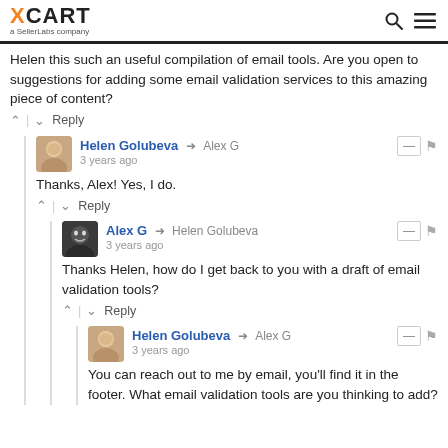XCART a SellerLabs company
Helen this such an useful compilation of email tools. Are you open to suggestions for adding some email validation services to this amazing piece of content?
∧ | ∨  Reply
Helen Golubeva → Alex G
3 years ago
Thanks, Alex! Yes, I do.
∧ | ∨  Reply
Alex G → Helen Golubeva
3 years ago
Thanks Helen, how do I get back to you with a draft of email validation tools?
∧ | ∨  Reply
Helen Golubeva → Alex G
3 years ago
You can reach out to me by email, you'll find it in the footer. What email validation tools are you thinking to add?